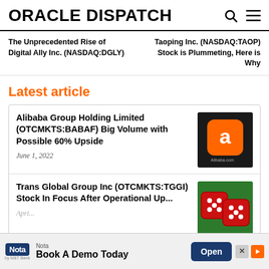ORACLE DISPATCH
The Unprecedented Rise of Digital Ally Inc. (NASDAQ:DGLY)
Taoping Inc. (NASDAQ:TAOP) Stock is Plummeting, Here is Why
Latest article
Alibaba Group Holding Limited (OTCMKTS:BABAF) Big Volume with Possible 60% Upside
June 1, 2022
[Figure (photo): Alibaba app icon on dark background with Alibaba.com text]
Trans Global Group Inc (OTCMKTS:TGGI) Stock In Focus After Operational Up...
Apri...
[Figure (photo): Red dice on green surface]
Nota — Book A Demo Today